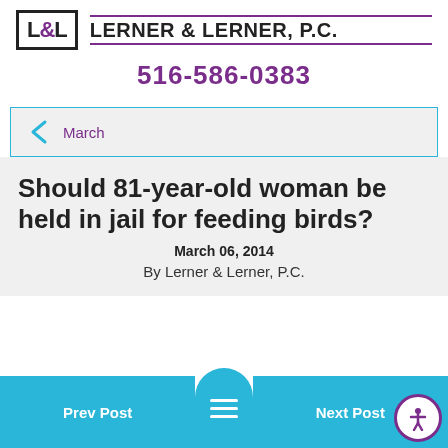[Figure (logo): Lerner & Lerner P.C. law firm logo with L&L monogram in a box and firm name with purple horizontal rules]
516-586-0383
March
Should 81-year-old woman be held in jail for feeding birds?
March 06, 2014
By Lerner & Lerner, P.C.
Prev Post  Next Post